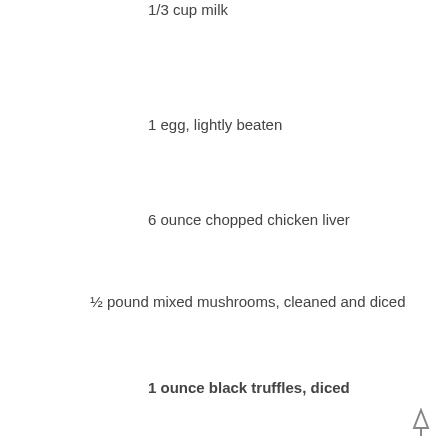1/3 cup milk
1 egg, lightly beaten
6 ounce chopped chicken liver
½ pound mixed mushrooms, cleaned and diced
1 ounce black truffles, diced
1 ½ tablespoons minced garlic
2 tablespoons diced shallot